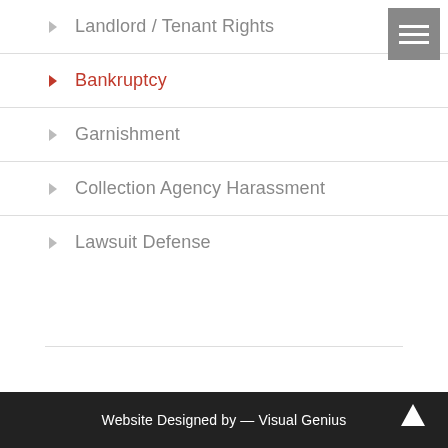Landlord / Tenant Rights
Bankruptcy
Garnishment
Collection Agency Harassment
Lawsuit Defense
Website Designed by — Visual Genius